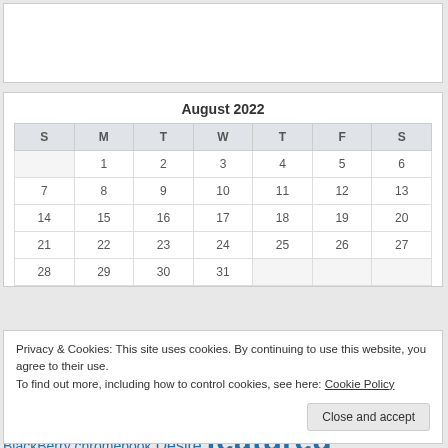[Figure (other): White empty box at top of page]
| S | M | T | W | T | F | S |
| --- | --- | --- | --- | --- | --- | --- |
|  | 1 | 2 | 3 | 4 | 5 | 6 |
| 7 | 8 | 9 | 10 | 11 | 12 | 13 |
| 14 | 15 | 16 | 17 | 18 | 19 | 20 |
| 21 | 22 | 23 | 24 | 25 | 26 | 27 |
| 28 | 29 | 30 | 31 |  |  |  |
Privacy & Cookies: This site uses cookies. By continuing to use this website, you agree to their use.
To find out more, including how to control cookies, see here: Cookie Policy
Close and accept
BlackBerry chromebook Desire featured